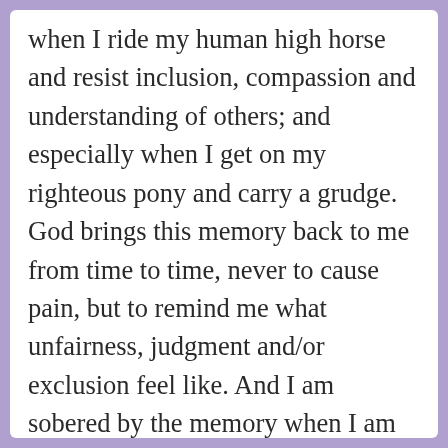when I ride my human high horse and resist inclusion, compassion and understanding of others; and especially when I get on my righteous pony and carry a grudge. God brings this memory back to me from time to time, never to cause pain, but to remind me what unfairness, judgment and/or exclusion feel like. And I am sobered by the memory when I am tempted to reject others or react to unkindness with